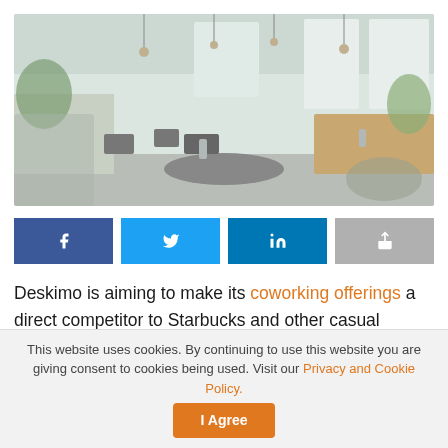[Figure (photo): Interior of a modern coworking space with pendant lights, large windows, wooden furniture, plants, and cafe-style seating areas.]
[Figure (infographic): Social media share buttons: Facebook (blue), Twitter (light blue), LinkedIn (dark blue), and a generic share button (grey).]
Deskimo is aiming to make its coworking offerings a direct competitor to Starbucks and other casual meeting spaces, rather than major industry operators such as WeWork.
This website uses cookies. By continuing to use this website you are giving consent to cookies being used. Visit our Privacy and Cookie Policy.